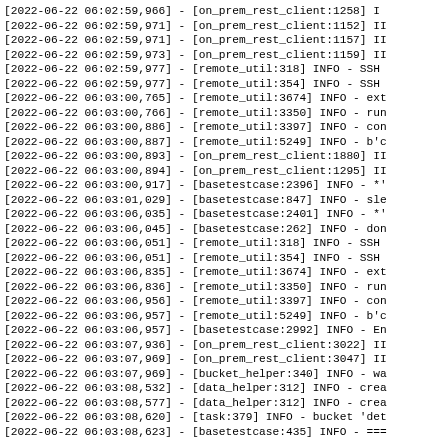[2022-06-22 06:02:59,966] - [on_prem_rest_client:1258] I
[2022-06-22 06:02:59,971] - [on_prem_rest_client:1152] II
[2022-06-22 06:02:59,971] - [on_prem_rest_client:1157] II
[2022-06-22 06:02:59,973] - [on_prem_rest_client:1159] II
[2022-06-22 06:02:59,977] - [remote_util:318] INFO - SSH
[2022-06-22 06:02:59,977] - [remote_util:354] INFO - SSH
[2022-06-22 06:03:00,765] - [remote_util:3674] INFO - ext
[2022-06-22 06:03:00,766] - [remote_util:3350] INFO - run
[2022-06-22 06:03:00,886] - [remote_util:3397] INFO - con
[2022-06-22 06:03:00,887] - [remote_util:5249] INFO - b'c
[2022-06-22 06:03:00,893] - [on_prem_rest_client:1880] II
[2022-06-22 06:03:00,894] - [on_prem_rest_client:1295] II
[2022-06-22 06:03:00,917] - [basetestcase:2396] INFO - *'
[2022-06-22 06:03:01,029] - [basetestcase:847] INFO - sle
[2022-06-22 06:03:06,035] - [basetestcase:2401] INFO - *'
[2022-06-22 06:03:06,045] - [basetestcase:262] INFO - don
[2022-06-22 06:03:06,051] - [remote_util:318] INFO - SSH
[2022-06-22 06:03:06,051] - [remote_util:354] INFO - SSH
[2022-06-22 06:03:06,835] - [remote_util:3674] INFO - ext
[2022-06-22 06:03:06,836] - [remote_util:3350] INFO - run
[2022-06-22 06:03:06,956] - [remote_util:3397] INFO - con
[2022-06-22 06:03:06,957] - [remote_util:5249] INFO - b'c
[2022-06-22 06:03:06,957] - [basetestcase:2992] INFO - En
[2022-06-22 06:03:07,936] - [on_prem_rest_client:3022] II
[2022-06-22 06:03:07,969] - [on_prem_rest_client:3047] II
[2022-06-22 06:03:07,969] - [bucket_helper:340] INFO - wa
[2022-06-22 06:03:08,532] - [data_helper:312] INFO - crea
[2022-06-22 06:03:08,577] - [data_helper:312] INFO - crea
[2022-06-22 06:03:08,620] - [task:379] INFO - bucket 'det
[2022-06-22 06:03:08,623] - [basetestcase:435] INFO - ===